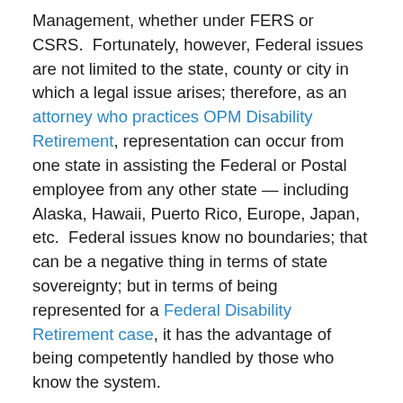Management, whether under FERS or CSRS.  Fortunately, however, Federal issues are not limited to the state, county or city in which a legal issue arises; therefore, as an attorney who practices OPM Disability Retirement, representation can occur from one state in assisting the Federal or Postal employee from any other state — including Alaska, Hawaii, Puerto Rico, Europe, Japan, etc.  Federal issues know no boundaries; that can be a negative thing in terms of state sovereignty; but in terms of being represented for a Federal Disability Retirement case, it has the advantage of being competently handled by those who know the system.
As deteriorating work environments often lead to an increase in medical issues, so the Federal or Postal employee must often fall back upon leaving the system by filing for Federal Disability Retirement benefits.  Being...